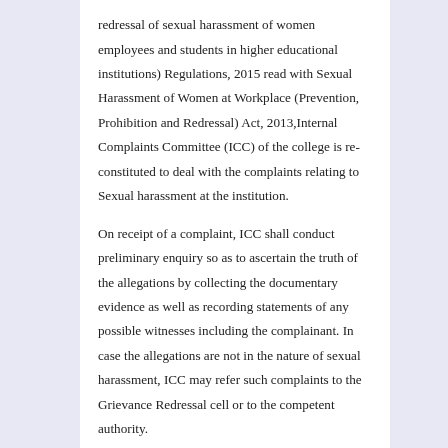redressal of sexual harassment of women employees and students in higher educational institutions) Regulations, 2015 read with Sexual Harassment of Women at Workplace (Prevention, Prohibition and Redressal) Act, 2013,Internal Complaints Committee (ICC) of the college is re-constituted to deal with the complaints relating to Sexual harassment at the institution.
On receipt of a complaint, ICC shall conduct preliminary enquiry so as to ascertain the truth of the allegations by collecting the documentary evidence as well as recording statements of any possible witnesses including the complainant. In case the allegations are not in the nature of sexual harassment, ICC may refer such complaints to the Grievance Redressal cell or to the competent authority.
Where sexual harassment occurs as a result of an